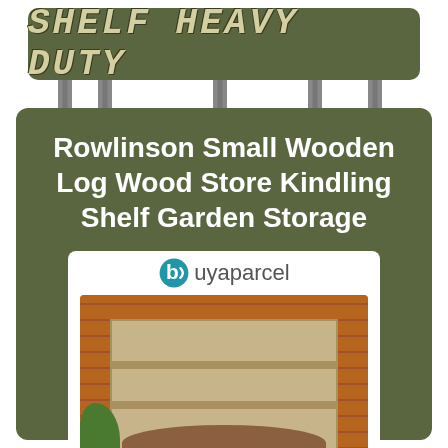Shelf Heavy Duty
Rowlinson Small Wooden Log Wood Store Kindling Shelf Garden Storage
[Figure (photo): Product photo of a wooden log store with a Buyaparcel logo, showing a small wooden garden log storage unit against a brick wall with firewood stacked inside]